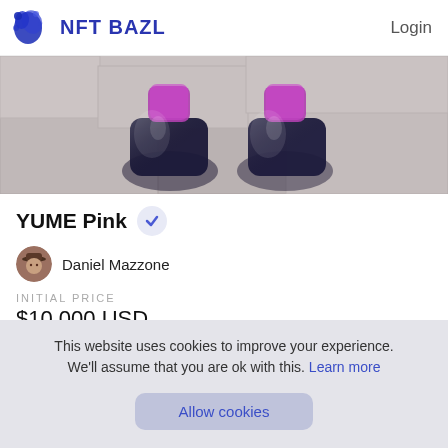NFT BAZL   Login
[Figure (photo): Banner image showing two shiny dark blue/black futuristic boots on a stone surface, with pink highlights at the top]
YUME Pink
Daniel Mazzone
INITIAL PRICE
$10,000 USD
This website uses cookies to improve your experience. We'll assume that you are ok with this. Learn more
Allow cookies